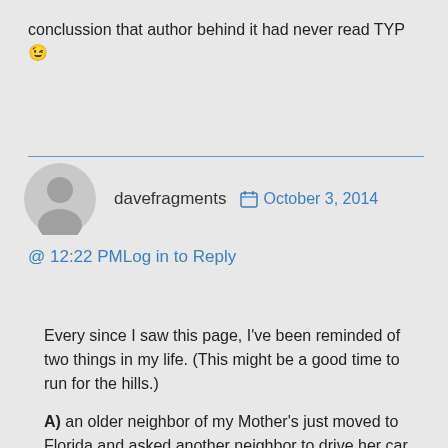conclussion that author behind it had never read TYP 😉
davefragments  📅 October 3, 2014
@ 12:22 PMLog in to Reply
Every since I saw this page, I've been reminded of two things in my life. (This might be a good time to run for the hills.)
A) an older neighbor of my Mother's just moved to Florida and asked another neighbor to drive her car down to her new house. I am guessing that this was the first and longest drive that the car enjoyed without the car feeling in fear of its